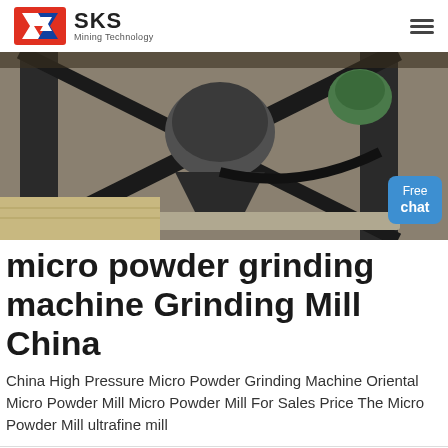SKS Mining Technology
[Figure (photo): Industrial grinding machine on a metal frame structure, close-up view of the mill head and frame, with a 'Free chat' button overlay in the top right]
micro powder grinding machine Grinding Mill China
China High Pressure Micro Powder Grinding Machine Oriental Micro Powder Mill Micro Powder Mill For Sales Price The Micro Powder Mill ultrafine mill